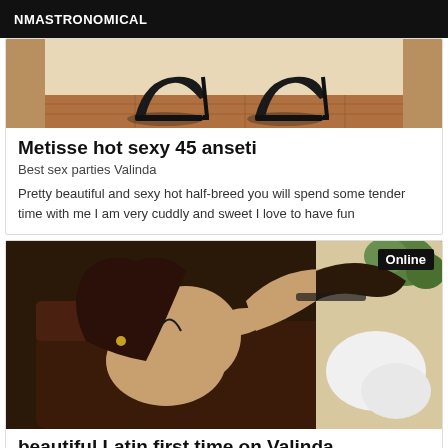NMASTRONOMICAL
[Figure (photo): Photo showing high-heel black shoes on a wooden floor]
Metisse hot sexy 45 anseti
Best sex parties Valinda
Pretty beautiful and sexy hot half-breed you will spend some tender time with me I am very cuddly and sweet I love to have fun
[Figure (photo): Photo of a woman on a sofa with Online badge in the top right corner]
beautiful Latin first time on Valinda